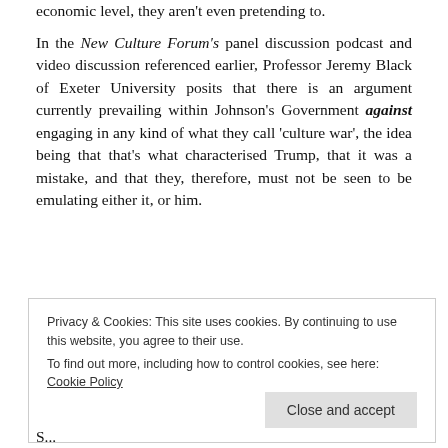economic level, they aren't even pretending to.
In the New Culture Forum's panel discussion podcast and video discussion referenced earlier, Professor Jeremy Black of Exeter University posits that there is an argument currently prevailing within Johnson's Government against engaging in any kind of what they call 'culture war', the idea being that that's what characterised Trump, that it was a mistake, and that they, therefore, must not be seen to be emulating either it, or him.
Privacy & Cookies: This site uses cookies. By continuing to use this website, you agree to their use.
To find out more, including how to control cookies, see here: Cookie Policy
Close and accept
S...